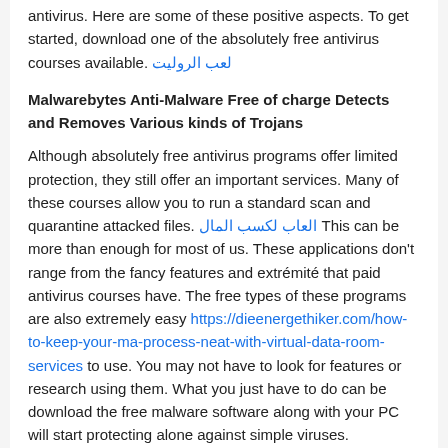antivirus. Here are some of these positive aspects. To get started, download one of the absolutely free antivirus courses available. لعب الروليت
Malwarebytes Anti-Malware Free of charge Detects and Removes Various kinds of Trojans
Although absolutely free antivirus programs offer limited protection, they still offer an important services. Many of these courses allow you to run a standard scan and quarantine attacked files. العاب لكسب المال This can be more than enough for most of us. These applications don't range from the fancy features and extrémité that paid antivirus courses have. The free types of these programs are also extremely easy https://dieenergethiker.com/how-to-keep-your-ma-process-neat-with-virtual-data-room-services to use. You may not have to look for features or research using them. What you just have to do can be download the free malware software along with your PC will start protecting alone against simple viruses.
Great reason to download an antivirus free of charge is the protection and privacy it offers. A large number of antivirus programs can make your computer run sluggish, and some may also slow down the computer's functionality. It is therefore essential to read self-sufficient tests before you choose an ant-virus for your computer. Moreover, not every ant-virus for